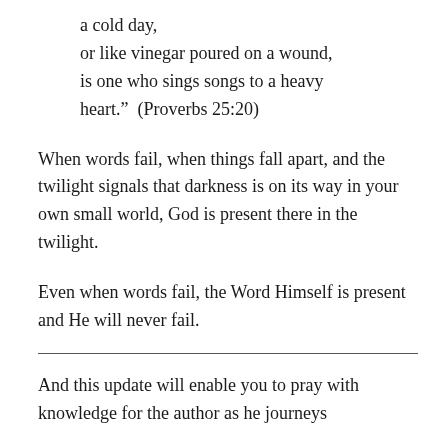a cold day,
or like vinegar poured on a wound,
is one who sings songs to a heavy
heart.”  (Proverbs 25:20)
When words fail, when things fall apart, and the twilight signals that darkness is on its way in your own small world, God is present there in the twilight.
Even when words fail, the Word Himself is present and He will never fail.
And this update will enable you to pray with knowledge for the author as he journeys